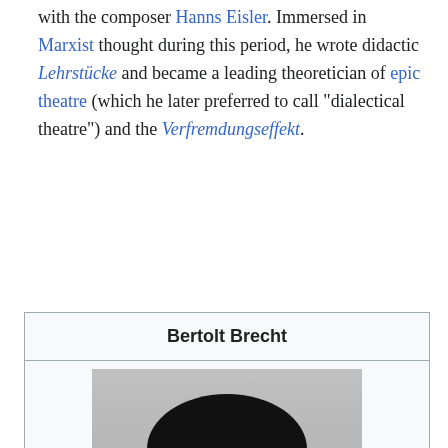with the composer Hanns Eisler. Immersed in Marxist thought during this period, he wrote didactic Lehrstücke and became a leading theoretician of epic theatre (which he later preferred to call "dialectical theatre") and the Verfremdungseffekt.
Bertolt Brecht
[Figure (photo): Black and white portrait photograph of Bertolt Brecht, a middle-aged man wearing round glasses, with short dark hair, looking slightly downward.]